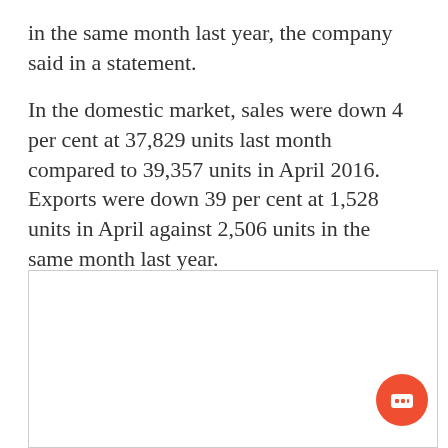in the same month last year, the company said in a statement.
In the domestic market, sales were down 4 per cent at 37,829 units last month compared to 39,357 units in April 2016. Exports were down 39 per cent at 1,528 units in April against 2,506 units in the same month last year.
[Figure (other): Empty white box with border, likely a placeholder for an image or advertisement. A red circular chat button icon appears in the lower right corner.]